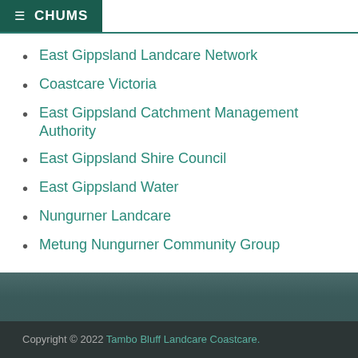≡ CHUMS
East Gippsland Landcare Network
Coastcare Victoria
East Gippsland Catchment Management Authority
East Gippsland Shire Council
East Gippsland Water
Nungurner Landcare
Metung Nungurner Community Group
Copyright © 2022 Tambo Bluff Landcare Coastcare.